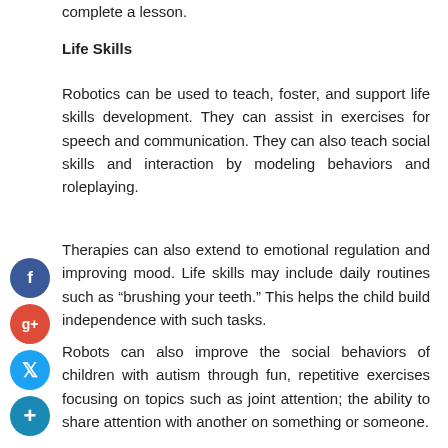complete a lesson.
Life Skills
Robotics can be used to teach, foster, and support life skills development. They can assist in exercises for speech and communication. They can also teach social skills and interaction by modeling behaviors and roleplaying.
Therapies can also extend to emotional regulation and improving mood. Life skills may include daily routines such as “brushing your teeth.” This helps the child build independence with such tasks.
Robots can also improve the social behaviors of children with autism through fun, repetitive exercises focusing on topics such as joint attention; the ability to share attention with another on something or someone.